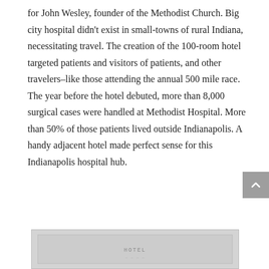for John Wesley, founder of the Methodist Church. Big city hospital didn't exist in small-towns of rural Indiana, necessitating travel. The creation of the 100-room hotel targeted patients and visitors of patients, and other travelers–like those attending the annual 500 mile race. The year before the hotel debuted, more than 8,000 surgical cases were handled at Methodist Hospital. More than 50% of those patients lived outside Indianapolis. A handy adjacent hotel made perfect sense for this Indianapolis hospital hub.
[Figure (photo): Partially visible historical photograph at the bottom of the page, showing what appears to be a document or building image with text overlay reading something like 'HOTEL' or similar.]